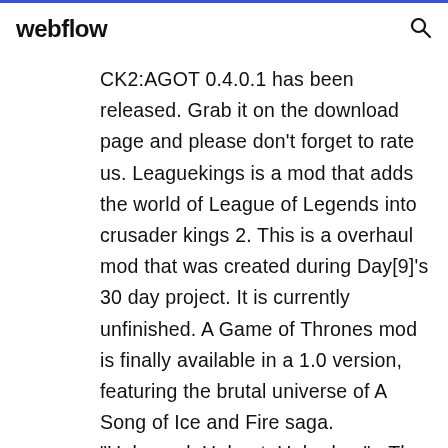webflow
CK2:AGOT 0.4.0.1 has been released. Grab it on the download page and please don't forget to rate us. Leaguekings is a mod that adds the world of League of Legends into crusader kings 2. This is a overhaul mod that was created during Day[9]'s 30 day project. It is currently unfinished. A Game of Thrones mod is finally available in a 1.0 version, featuring the brutal universe of A Song of Ice and Fire saga. "Unbowed, Unbent, Unbroken" - The Words Of House Martell In this series we are playing the marvellous House Martell starting with the calm and calculated DorReclaiming Territory! Ep. 65 Series:Bear | CK2 Game of Thrones... https://videoyoutub.ru/watch/lbz6zqxvwqiBeing